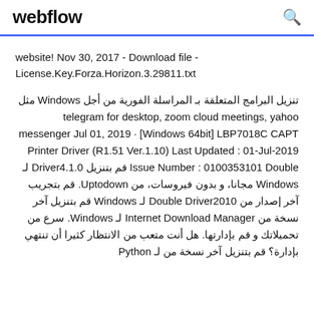webflow
website! Nov 30, 2017 - Download file - License.Key.Forza.Horizon.3.29811.txt
تنزيل البرامج المتعلقة بـ المراسلة الفورية من أجل Windows مثل telegram for desktop, zoom cloud meetings, yahoo messenger Jul 01, 2019 · [Windows 64bit] LBP7018C CAPT Printer Driver (R1.51 Ver.1.10) Last Updated : 01-Jul-2019 Issue Number : 0100353101 Double قم بتنزيل Driver4.1.0 لـ Windows مجانا، و بدون فيروسات، من Uptodown. قم بتجريب آخر إصدار من Double Driver2010 لـ Windows قم بتنزيل آخر نسخة من Internet Download Manager لـ Windows. سرع من تحميلاتك و قم بإدارتها. هل أنت متعب من الانتظار كثيرا أن تنتهي بإدارة؟ قم بتنزيل آخر نسخة من لـ Python